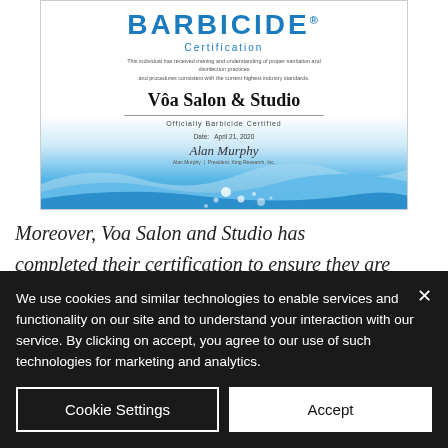[Figure (photo): Barbicide Certification document for Vôa Salon & Studio, officially Barbicide Certified, dated April 21, 2020, signed by Alan Murphy, President, King Research Inc. Certificate has blue wave design at bottom.]
Moreover, Voa Salon and Studio has completed their certification to ensure they are a Barbicide Certified Safe Service
We use cookies and similar technologies to enable services and functionality on our site and to understand your interaction with our service. By clicking on accept, you agree to our use of such technologies for marketing and analytics.
Cookie Settings
Accept